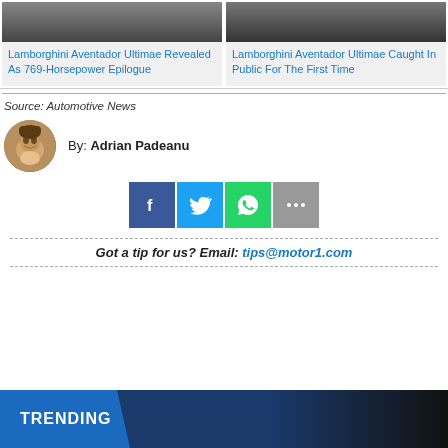Lamborghini Aventador Ultimae Revealed As 769-Horsepower Epilogue
Lamborghini Aventador Ultimae Caught In Public For The First Time
Source: Automotive News
By: Adrian Padeanu
[Figure (infographic): Social share buttons: Facebook, Twitter, WhatsApp, More]
Got a tip for us? Email: tips@motor1.com
TRENDING